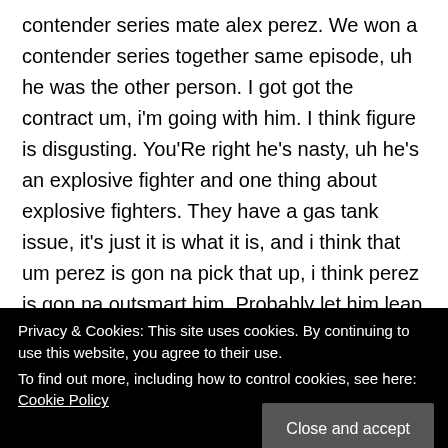contender series mate alex perez. We won a contender series together same episode, uh he was the other person. I got got the contract um, i'm going with him. I think figure is disgusting. You'Re right he's nasty, uh he's an explosive fighter and one thing about explosive fighters. They have a gas tank issue, it's just it is what it is, and i think that um perez is gon na pick that up, i think perez is gon na outsmart him. Probably let him leap into his punches and hope, and you know just catch him on a double leg or a single or some sort of buyer lock. As he's coming in and just let him tire himself out and then i
Privacy & Cookies: This site uses cookies. By continuing to use this website, you agree to their use.
To find out more, including how to control cookies, see here: Cookie Policy
that dude figure out he got the one damage man. He